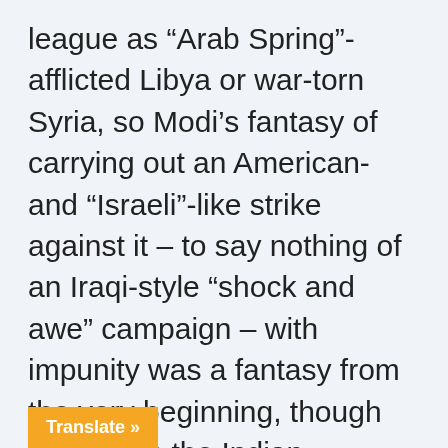league as “Arab Spring”-afflicted Libya or war-torn Syria, so Modi’s fantasy of carrying out an American- and “Israeli”-like strike against it – to say nothing of an Iraqi-style “shock and awe” campaign – with impunity was a fantasy from the very beginning, though one which the Indian leadership has dangerously decided to play out in real life. Unlike those aforementioned targeted states, however, Pakistan is strong enough to principles of international
Translate »